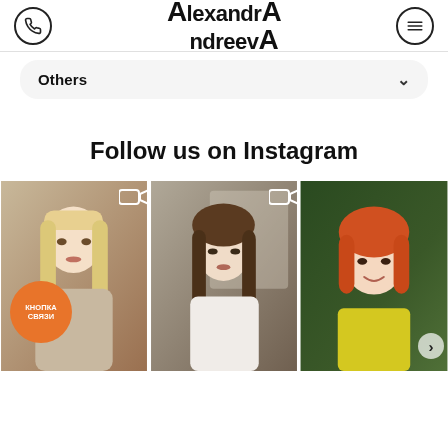AlexandrAndreevA
Others
Follow us on Instagram
[Figure (photo): Three Instagram photos of women with different hairstyles: blonde straight hair, brunette wavy hair, red/orange short bob hair. Contact button overlay with Russian text КНОПКА СВЯЗИ (contact button).]